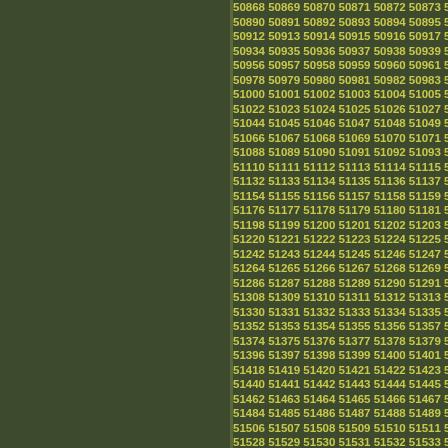Sequential numbers from 50868 to 51686, displayed in rows of approximately 7 numbers each, on a dark olive green background with yellow-green text.